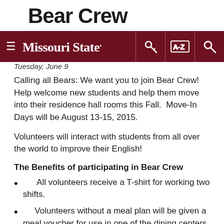Bear Crew
≡ Missouri State. [key icon] [A-Z icon] [search icon]
Tuesday, June 9
Calling all Bears: We want you to join Bear Crew! Help welcome new students and help them move into their residence hall rooms this Fall. Move-In Days will be August 13-15, 2015.
Volunteers will interact with students from all over the world to improve their English!
The Benefits of participating in Bear Crew
All volunteers receive a T-shirt for working two shifts.
Volunteers without a meal plan will be given a meal voucher for use in one of the dining centers after they complete their shift(s).